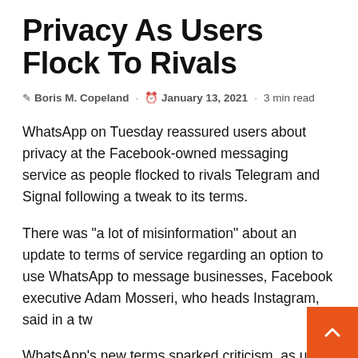Privacy As Users Flock To Rivals
Boris M. Copeland · January 13, 2021 · 3 min read
WhatsApp on Tuesday reassured users about privacy at the Facebook-owned messaging service as people flocked to rivals Telegram and Signal following a tweak to its terms.
There was “a lot of misinformation” about an update to terms of service regarding an option to use WhatsApp to message businesses, Facebook executive Adam Mosseri, who heads Instagram, said in a tw…
WhatsApp’s new terms sparked criticism, as users